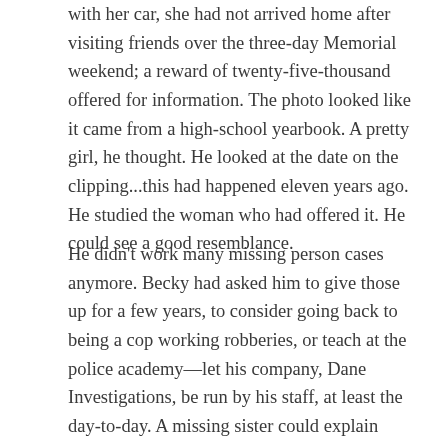with her car, she had not arrived home after visiting friends over the three-day Memorial weekend; a reward of twenty-five-thousand offered for information. The photo looked like it came from a high-school yearbook. A pretty girl, he thought. He looked at the date on the clipping...this had happened eleven years ago. He studied the woman who had offered it. He could see a good resemblance.
He didn't work many missing person cases anymore. Becky had asked him to give those up for a few years, to consider going back to being a cop working robberies, or teach at the police academy—let his company, Dane Investigations, be run by his staff, at least the day-to-day. A missing sister could explain why this woman had sought him out, and he did know some people in Chicago that might be able to help her. A few of them were at this